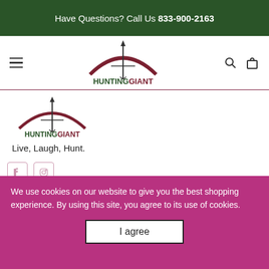Have Questions? Call Us 833-900-2163
[Figure (logo): HuntingGiant logo in navigation bar - bow and arrow graphic with HUNTING in dark green and GIANT in dark red text]
[Figure (logo): HuntingGiant logo in content area - bow and arrow graphic with HUNTING in dark green and GIANT in dark red text]
Live, Laugh, Hunt.
We use cookies on our website to give you the best shopping experience. By using this site, you agree to its use of cookies.
Quick Links
Search
About Us